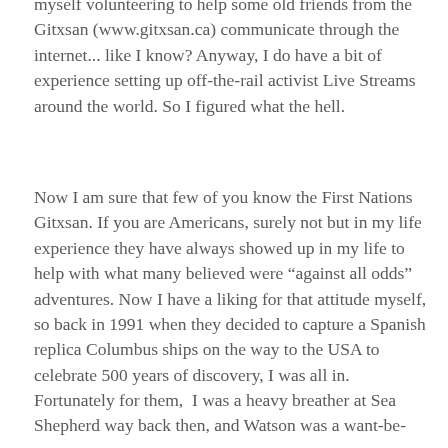myself volunteering to help some old friends from the Gitxsan (www.gitxsan.ca) communicate through the internet... like I know? Anyway, I do have a bit of experience setting up off-the-rail activist Live Streams around the world. So I figured what the hell.
Now I am sure that few of you know the First Nations Gitxsan. If you are Americans, surely not but in my life experience they have always showed up in my life to help with what many believed were “against all odds” adventures. Now I have a liking for that attitude myself, so back in 1991 when they decided to capture a Spanish replica Columbus ships on the way to the USA to celebrate 500 years of discovery, I was all in. Fortunately for them, I was a heavy breather at Sea Shepherd way back then, and Watson was a want-be-